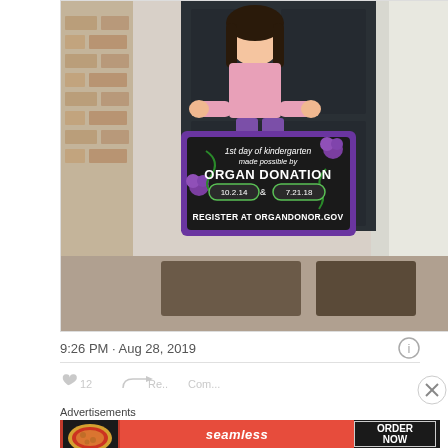[Figure (photo): A young girl standing in front of a house door, holding a large black chalkboard sign with purple border. The sign reads: '1st day of kindergarten made possible by ORGAN DONATION 10.2.14 & 7.21.18 REGISTER AT ORGANDONOR.GOV'. The girl is wearing a pink top and purple pants with white sneakers.]
9:26 PM · Aug 28, 2019
Advertisements
[Figure (screenshot): Advertisement banner for Seamless food ordering service, showing pizza image on left, Seamless logo in red center, and ORDER NOW button on right, on dark background.]